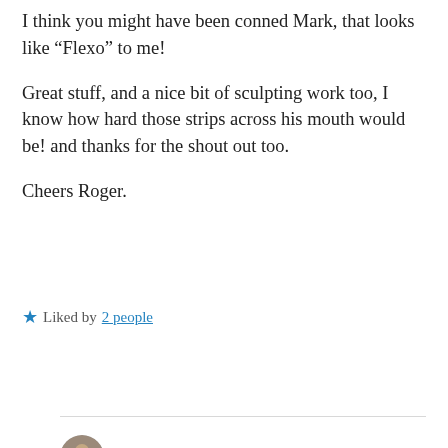I think you might have been conned Mark, that looks like “Flexo” to me!

Great stuff, and a nice bit of sculpting work too, I know how hard those strips across his mouth would be! and thanks for the shout out too.

Cheers Roger.
★ Liked by 2 people
Reply
Mark A. Morin
August 30, 2020 at 10:22 pm